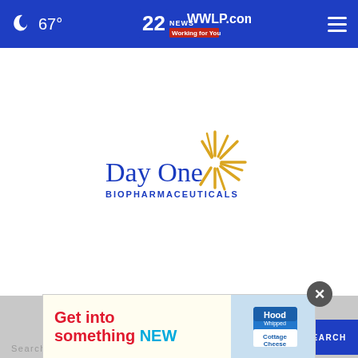67° — 22NEWS WWLP.com Working for You
[Figure (logo): Day One Biopharmaceuticals logo with golden sunburst rays and blue text]
[Figure (infographic): Advertisement banner: 'Get into something NEW' with Hood Cottage Cheese product image on right]
Search by Keyword
SEARCH